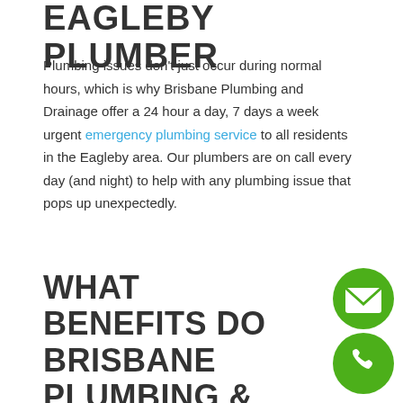EAGLEBY PLUMBER
Plumbing issues don't just occur during normal hours, which is why Brisbane Plumbing and Drainage offer a 24 hour a day, 7 days a week urgent emergency plumbing service to all residents in the Eagleby area. Our plumbers are on call every day (and night) to help with any plumbing issue that pops up unexpectedly.
WHAT BENEFITS DO BRISBANE PLUMBING & DRAINAGE OFFER?
[Figure (illustration): Green circle icon with white envelope/email symbol]
[Figure (illustration): Green circle icon with white phone/call symbol]